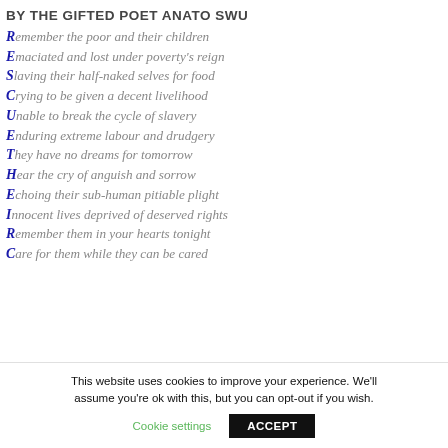BY THE GIFTED POET ANATO SWU
Remember the poor and their children
Emaciated and lost under poverty's reign
Slaving their half-naked selves for food
Crying to be given a decent livelihood
Unable to break the cycle of slavery
Enduring extreme labour and drudgery
They have no dreams for tomorrow
Hear the cry of anguish and sorrow
Echoing their sub-human pitiable plight
Innocent lives deprived of deserved rights
Remember them in your hearts tonight
Care for them while they can be cared
This website uses cookies to improve your experience. We'll assume you're ok with this, but you can opt-out if you wish.
Cookie settings | ACCEPT